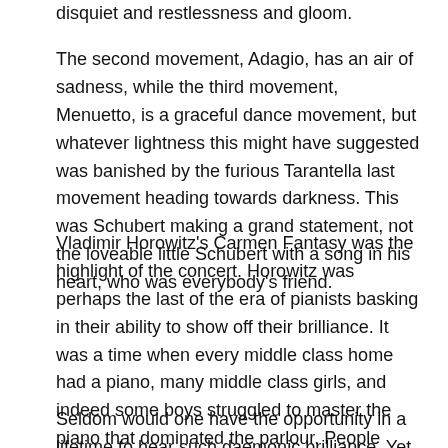disquiet and restlessness and gloom.
The second movement, Adagio, has an air of sadness, while the third movement, Menuetto, is a graceful dance movement, but whatever lightness this might have suggested was banished by the furious Tarantella last movement heading towards darkness. This was Schubert making a grand statement, not the loveable little Schubert with a song in his heart, who was everybody's friend.
Vladimir Horowitz's Carmen Fantasy was the highlight of the concert. Horowitz was perhaps the last of the era of pianists basking in their ability to show off their brilliance. It was a time when every middle class home had a piano, many middle class girls, and indeed some boys struggled to master the piano that dominated the parlour. People valued, appreciated sheer virtuosity. Ya-Ting Liou's playing was just simply breathtaking.
Seldom would one have the opportunity in a lifetime to hear such daemonic brilliance. Yet, when after the concert I